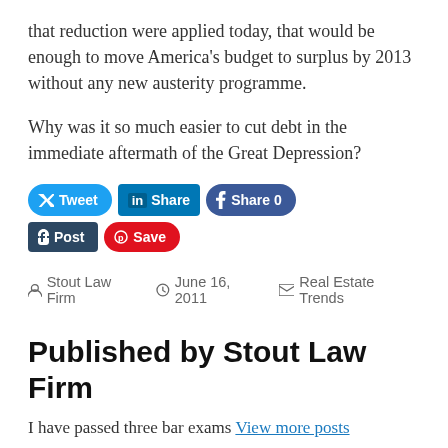that reduction were applied today, that would be enough to move America's budget to surplus by 2013 without any new austerity programme.
Why was it so much easier to cut debt in the immediate aftermath of the Great Depression?
[Figure (other): Social sharing buttons: Tweet (Twitter), Share (LinkedIn), Share 0 (Facebook), Post (Tumblr), Save (Pinterest)]
Stout Law Firm   June 16, 2011   Real Estate Trends
Published by Stout Law Firm
I have passed three bar exams View more posts